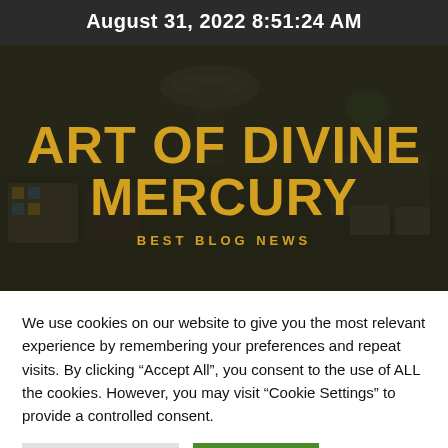August 31, 2022 8:51:24 AM
[Figure (illustration): Hero banner image of a blurred home interior (lamp, sofa, desk with plant) with dark overlay, showing 'ART OF DIVINE MERCURY' in golden bold text and 'BEST BLOG NEWS' subtitle below]
We use cookies on our website to give you the most relevant experience by remembering your preferences and repeat visits. By clicking “Accept All”, you consent to the use of ALL the cookies. However, you may visit “Cookie Settings” to provide a controlled consent.
Cookie Settings | Accept All